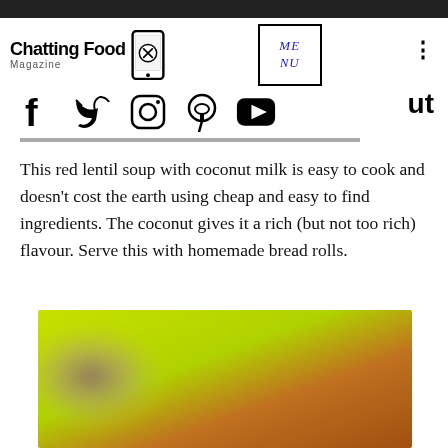Chatting Food Magazine — website header with logo, MENU button, social icons (Facebook, Twitter, Instagram, Pinterest, YouTube)
This red lentil soup with coconut milk is easy to cook and doesn't cost the earth using cheap and easy to find ingredients.  The coconut gives it a rich (but not too rich) flavour. Serve this with homemade bread rolls.
[Figure (photo): Blurred photo of a bowl of red lentil soup with coconut milk on a bright green/yellow-green background, showing an orange/red soup with a hand or shadow visible at top left.]